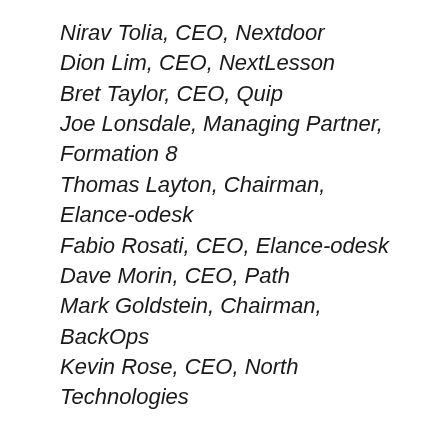Nirav Tolia, CEO, Nextdoor
Dion Lim, CEO, NextLesson
Bret Taylor, CEO, Quip
Joe Lonsdale, Managing Partner, Formation 8
Thomas Layton, Chairman, Elance-odesk
Fabio Rosati, CEO, Elance-odesk
Dave Morin, CEO, Path
Mark Goldstein, Chairman, BackOps
Kevin Rose, CEO, North Technologies